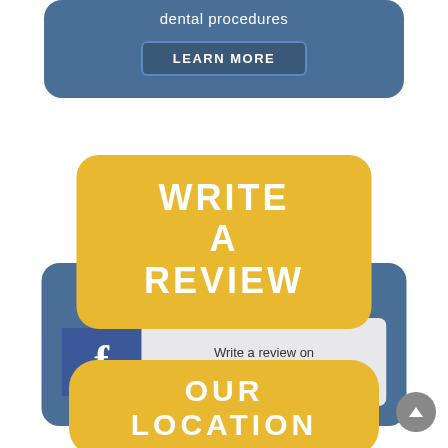dental procedures
LEARN MORE
WRITE A REVIEW
[Figure (logo): Facebook review button with blue Facebook icon on left and 'Write a review on FACEBOOK' text on right on light gray background]
OUR LOCATION